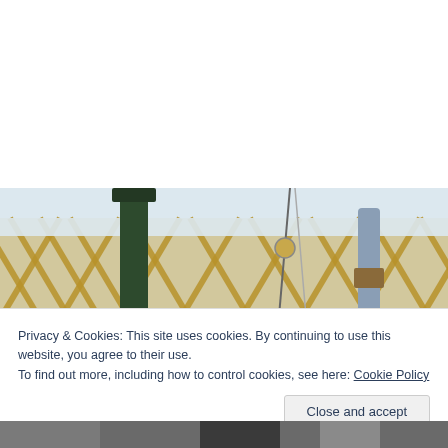[Figure (photo): A snowy outdoor scene with a wooden lattice fence covered in snow. A dark green post/column is visible on the left, and a wrapped post or tree trunk is visible on the right. Snow is piled heavily on the fence and ground.]
Privacy & Cookies: This site uses cookies. By continuing to use this website, you agree to their use.
To find out more, including how to control cookies, see here: Cookie Policy
Close and accept
[Figure (photo): Bottom strip of a photo showing what appears to be a winter outdoor scene in black and white or dark tones.]